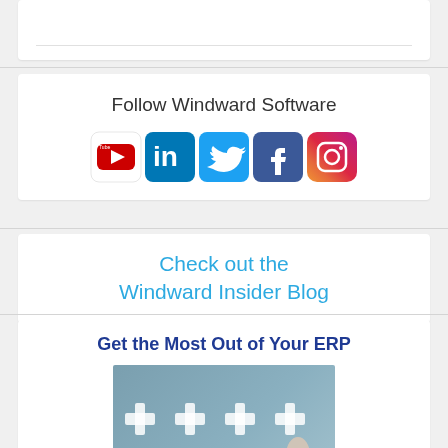[Figure (other): Partial top card showing a horizontal line, cropped at top of page]
Follow Windward Software
[Figure (infographic): Row of social media icons: YouTube, LinkedIn, Twitter, Facebook, Instagram]
Check out the Windward Insider Blog
Get the Most Out of Your ERP
[Figure (photo): Photo showing plus signs on a blue-grey background with a hand pointer]